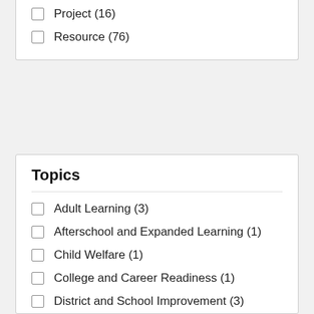Project (16)
Resource (76)
Topics
Adult Learning (3)
Afterschool and Expanded Learning (1)
Child Welfare (1)
College and Career Readiness (1)
District and School Improvement (3)
Early Childhood and Child Development (1)
Education (14)
Education Policy (4) [checked]